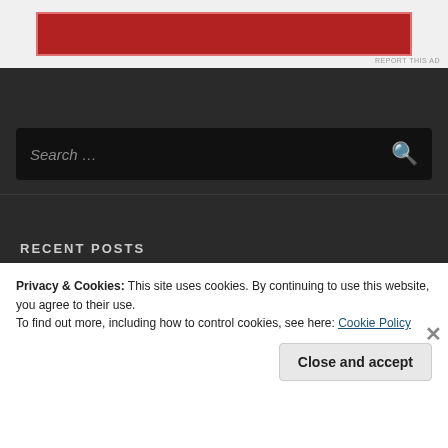[Figure (other): Red advertisement banner with border on white background, with 'REPORT THIS AD' text below]
Search ...
RECENT POSTS
» Trainwreck: WoodStock '99
» Metric – Formentera (Part 2/2)
Privacy & Cookies: This site uses cookies. By continuing to use this website, you agree to their use.
To find out more, including how to control cookies, see here: Cookie Policy
Close and accept